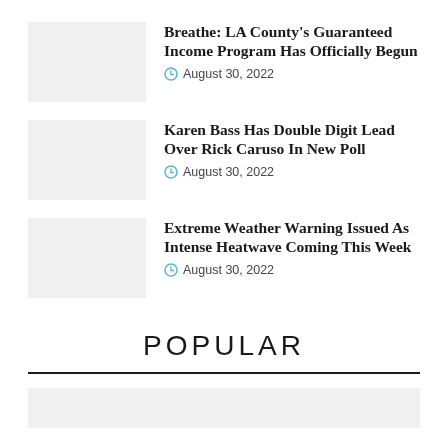Breathe: LA County's Guaranteed Income Program Has Officially Begun
August 30, 2022
Karen Bass Has Double Digit Lead Over Rick Caruso In New Poll
August 30, 2022
Extreme Weather Warning Issued As Intense Heatwave Coming This Week
August 30, 2022
POPULAR
[Figure (photo): Thumbnail image placeholder at bottom]